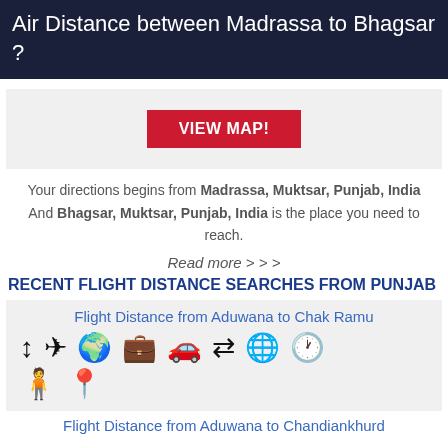Air Distance between Madrassa to Bhagsar ?
[Figure (other): Map placeholder area with a VIEW MAP! button]
Your directions begins from Madrassa, Muktsar, Punjab, India And Bhagsar, Muktsar, Punjab, India is the place you need to reach.
Read more > > >
RECENT FLIGHT DISTANCE SEARCHES FROM PUNJAB
Flight Distance from Aduwana to Chak Ramu
[Figure (other): Row of travel/navigation icons: arrow up-down, airplane, globe, briefcase, car, arrows left-right, globe/grid, clock, person with clock, location pin]
Flight Distance from Aduwana to Chandiankhurd